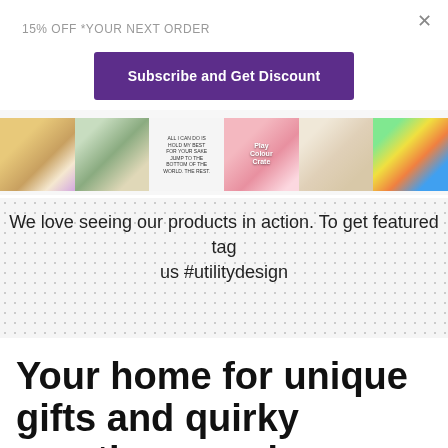15% OFF *YOUR NEXT ORDER
×
Subscribe and Get Discount
[Figure (photo): A horizontal strip of six product photos showing various items: a taco plush toy on checkered fabric, a plant arrangement with a small character, a text print, a bingo/play colour crate product, a decorated mug, and colourful sweets.]
We love seeing our products in action. To get featured tag us #utilitydesign
Your home for unique gifts and quirky greetings cards